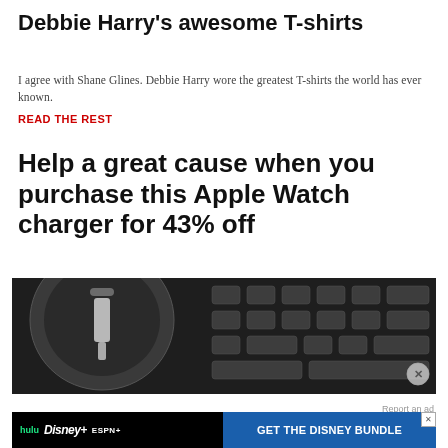Debbie Harry's awesome T-shirts
I agree with Shane Glines. Debbie Harry wore the greatest T-shirts the world has ever known.
READ THE REST
Help a great cause when you purchase this Apple Watch charger for 43% off
[Figure (photo): Close-up photo of an Apple Watch charger on a dark keyboard]
Report an ad
[Figure (infographic): Disney Bundle advertisement banner showing Hulu, Disney+, ESPN+ logos with GET THE DISNEY BUNDLE call to action]